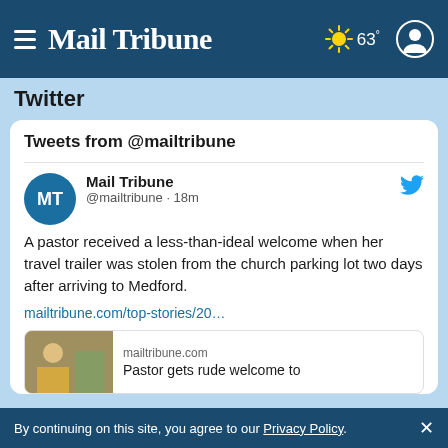Mail Tribune | 63°
Twitter
Tweets from @mailtribune
Mail Tribune @mailtribune · 18m
A pastor received a less-than-ideal welcome when her travel trailer was stolen from the church parking lot two days after arriving to Medford.
mailtribune.com/top-stories/20…
mailtribune.com
Pastor gets rude welcome to
By continuing on this site, you agree to our Privacy Policy. ×